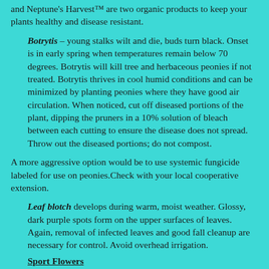and Neptune's Harvest™ are two organic products to keep your plants healthy and disease resistant.
Botrytis – young stalks wilt and die, buds turn black. Onset is in early spring when temperatures remain below 70 degrees. Botrytis will kill tree and herbaceous peonies if not treated. Botrytis thrives in cool humid conditions and can be minimized by planting peonies where they have good air circulation. When noticed, cut off diseased portions of the plant, dipping the pruners in a 10% solution of bleach between each cutting to ensure the disease does not spread. Throw out the diseased portions; do not compost.
A more aggressive option would be to use systemic fungicide labeled for use on peonies.Check with your local cooperative extension.
Leaf blotch develops during warm, moist weather. Glossy, dark purple spots form on the upper surfaces of leaves. Again, removal of infected leaves and good fall cleanup are necessary for control. Avoid overhead irrigation.
Sport Flowers